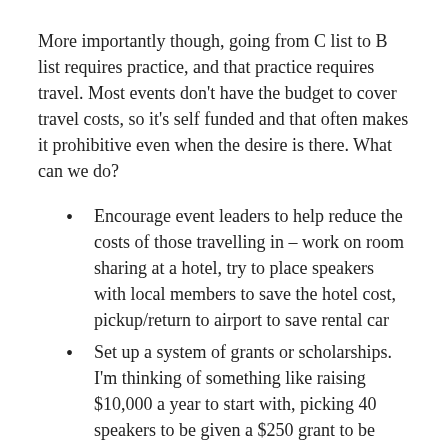More importantly though, going from C list to B list requires practice, and that practice requires travel. Most events don't have the budget to cover travel costs, so it's self funded and that often makes it prohibitive even when the desire is there. What can we do?
Encourage event leaders to help reduce the costs of those travelling in – work on room sharing at a hotel, try to place speakers with local members to save the hotel cost, pickup/return to airport to save rental car
Set up a system of grants or scholarships. I'm thinking of something like raising $10,000 a year to start with, picking 40 speakers to be given a $250 grant to be used to attend a SQL Saturday that requires travel. It wouldn't